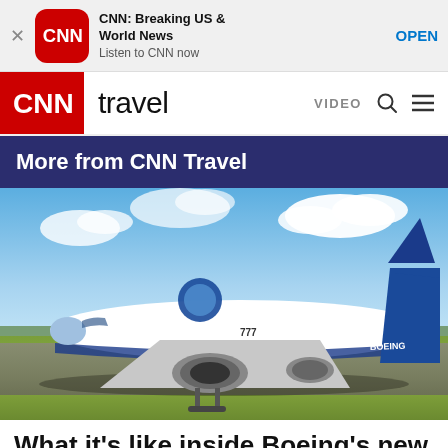[Figure (screenshot): App store banner for CNN Breaking US & World News app with CNN logo, app name, subtitle 'Listen to CNN now', and OPEN button]
CNN travel  VIDEO
More from CNN Travel
[Figure (photo): Boeing 777X aircraft in Boeing livery (white and blue) on airport tarmac with blue sky and clouds in background]
What it's like inside Boeing's new 777X